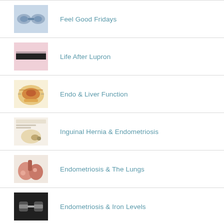Feel Good Fridays
Life After Lupron
Endo & Liver Function
Inguinal Hernia & Endometriosis
Endometriosis & The Lungs
Endometriosis & Iron Levels
My experience with a bowel prep